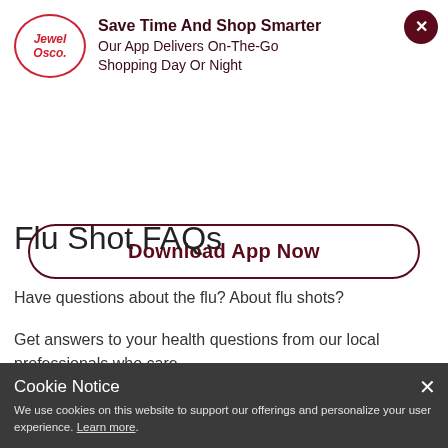[Figure (logo): Jewel-Osco oval logo with italic text]
Save Time And Shop Smarter
Our App Delivers On-The-Go Shopping Day Or Night
Download App Now
Flu Shot FAQs
Have questions about the flu? About flu shots?
Get answers to your health questions from our local professionals who care.
Cookie Notice
We use cookies on this website to support our offerings and personalize your user experience. Learn more.